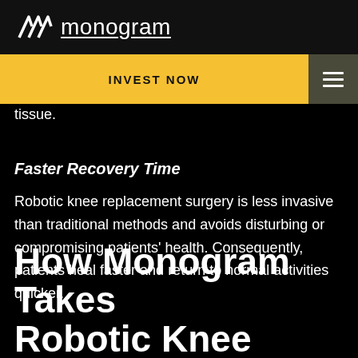monogram
INVEST NOW
tissue.
Faster Recovery Time
Robotic knee replacement surgery is less invasive than traditional methods and avoids disturbing or compromising patients' health. Consequently, patients heal faster and return to normal activities quicker.
How Monogram Takes Robotic Knee